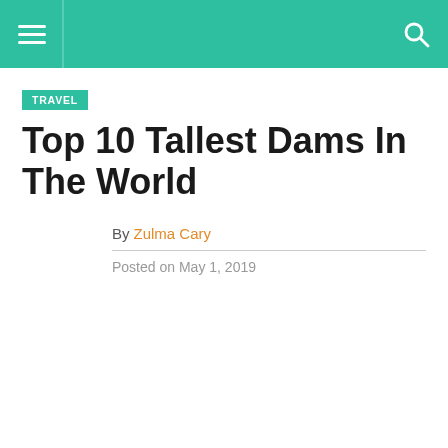TRAVEL
Top 10 Tallest Dams In The World
By Zulma Cary
Posted on May 1, 2019